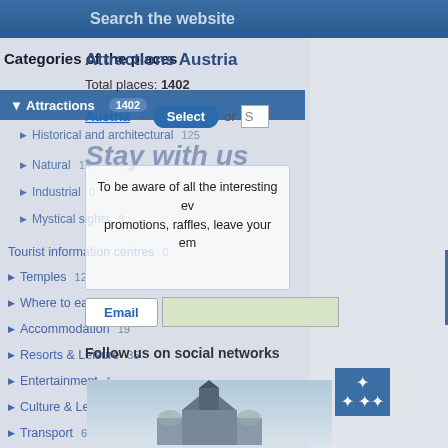Search the website
Categories of the places
Attractions 1402
Historical and architectural 125
Natural 14
Industrial 0
Mystical sights 0
Tourist information centres 0
Temples 12
Where to eat 0
Accommodation 19
Resorts & Leisure 35
Entertainment 1
Culture & Leisure 45
Transport 6
Attractions Austria
Total places: 1402
Austria → Select or S
Stay with us
To be aware of all the interesting events, promotions, raffles, leave your email
Email
Follow us on social networks
[Figure (photo): Aerial garden photo with geometric patterns]
[Figure (photo): Church or architectural landmark photo at bottom]